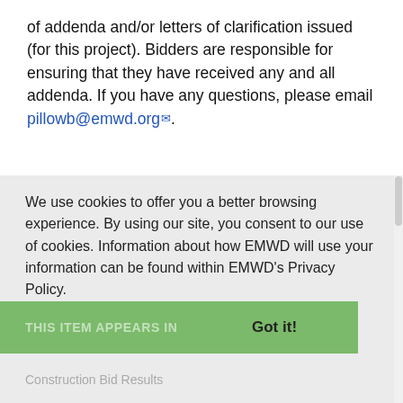of addenda and/or letters of clarification issued (for this project). Bidders are responsible for ensuring that they have received any and all addenda. If you have any questions, please email pillowb@emwd.org.
We use cookies to offer you a better browsing experience. By using our site, you consent to our use of cookies. Information about how EMWD will use your information can be found within EMWD's Privacy Policy.
Learn More
THIS ITEM APPEARS IN Got it!
Construction Bid Results